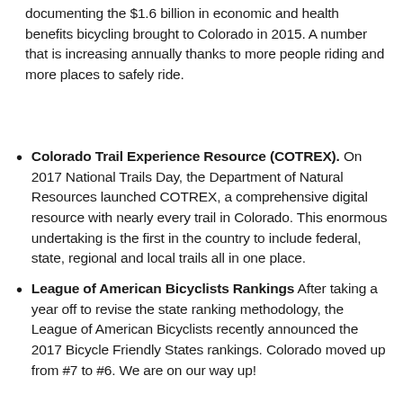documenting the $1.6 billion in economic and health benefits bicycling brought to Colorado in 2015. A number that is increasing annually thanks to more people riding and more places to safely ride.
Colorado Trail Experience Resource (COTREX). On 2017 National Trails Day, the Department of Natural Resources launched COTREX, a comprehensive digital resource with nearly every trail in Colorado. This enormous undertaking is the first in the country to include federal, state, regional and local trails all in one place.
League of American Bicyclists Rankings After taking a year off to revise the state ranking methodology, the League of American Bicyclists recently announced the 2017 Bicycle Friendly States rankings. Colorado moved up from #7 to #6. We are on our way up!